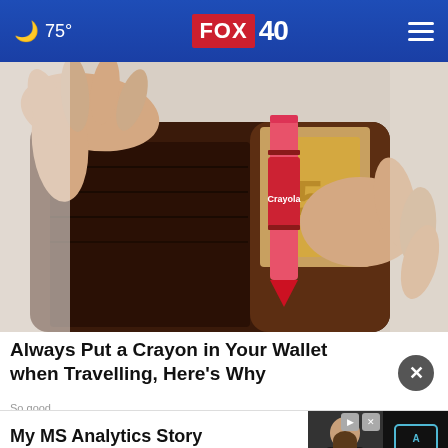75° FOX 40
[Figure (photo): Hands holding open a brown leather wallet containing a red Crayola crayon and some currency/cards]
Always Put a Crayon in Your Wallet when Travelling, Here's Why
So go od...
[Figure (screenshot): Advertisement banner for Texas A&M University 'My MS Analytics Story' featuring a bearded man and the Texas A&M ATM logo with 'Hear my story.' button]